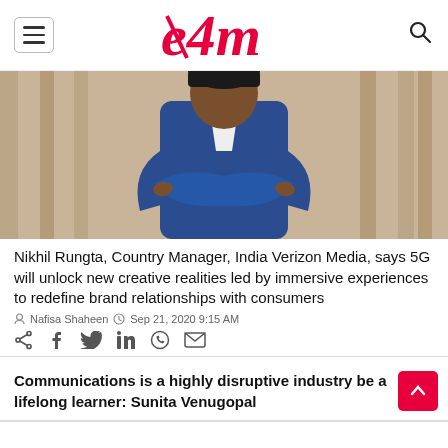e4m
[Figure (photo): Man in blue suit with arms crossed, standing in front of wooden slat background]
Nikhil Rungta, Country Manager, India Verizon Media, says 5G will unlock new creative realities led by immersive experiences to redefine brand relationships with consumers
Nafisa Shaheen  Sep 21, 2020 9:15 AM
Share icons: share, facebook, twitter, linkedin, whatsapp, email
Communications is a highly disruptive industry be a lifelong learner: Sunita Venugopal